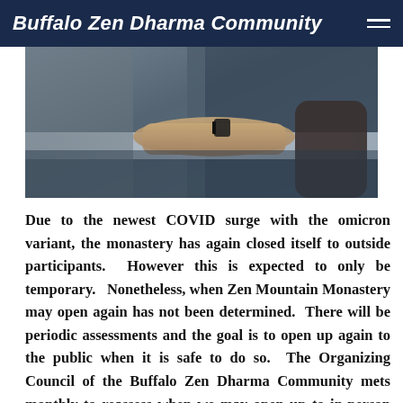Buffalo Zen Dharma Community
[Figure (photo): Close-up photo of a person's arms resting on a surface, wearing dark clothing, with a reflective table or counter in the foreground.]
Due to the newest COVID surge with the omicron variant, the monastery has again closed itself to outside participants. However this is expected to only be temporary. Nonetheless, when Zen Mountain Monastery may open again has not been determined. There will be periodic assessments and the goal is to open up again to the public when it is safe to do so. The Organizing Council of the Buffalo Zen Dharma Community mets monthly to reassess when we may open up to in-person gatherings. At the most recent